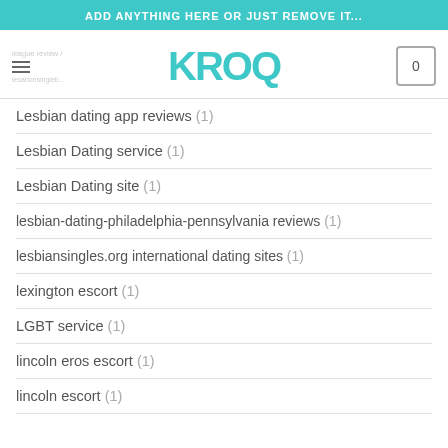ADD ANYTHING HERE OR JUST REMOVE IT...
[Figure (logo): KROQ logo in teal with navigation bar, hamburger menu, and cart icon]
Lesbian dating app reviews (1)
Lesbian Dating service (1)
Lesbian Dating site (1)
lesbian-dating-philadelphia-pennsylvania reviews (1)
lesbiansingles.org international dating sites (1)
lexington escort (1)
LGBT service (1)
lincoln eros escort (1)
lincoln escort (1)